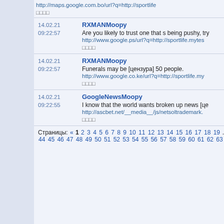http://maps.google.com.bo/url?q=http://sportlife
□□□□
RXMANMoopy
14.02.21 09:22:57
Are you likely to trust one that s being pushy, try
http://www.google.ps/url?q=http://sportlife.mytes
□□□□
RXMANMoopy
14.02.21 09:22:57
Funerals may be [цензура] 50 people.
http://www.google.co.ke/url?q=http://sportlife.my
□□□□
GoogleNewsMoopy
14.02.21 09:22:55
I know that the world wants broken up news [це
http://ascbet.net/__media__/js/netsoltrademark.
□□□□
Страницы: « 1 2 3 4 5 6 7 8 9 10 11 12 13 14 15 16 17 18 19 … 44 45 46 47 48 49 50 51 52 53 54 55 56 57 58 59 60 61 62 63